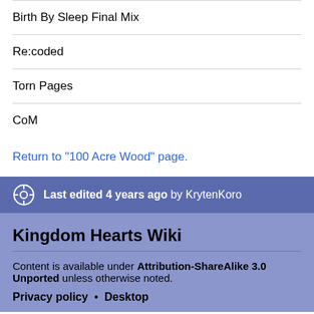Birth By Sleep Final Mix
Re:coded
Torn Pages
CoM
Return to "100 Acre Wood" page.
Last edited 4 years ago by KrytenKoro
Kingdom Hearts Wiki
Content is available under Attribution-ShareAlike 3.0 Unported unless otherwise noted.
Privacy policy • Desktop